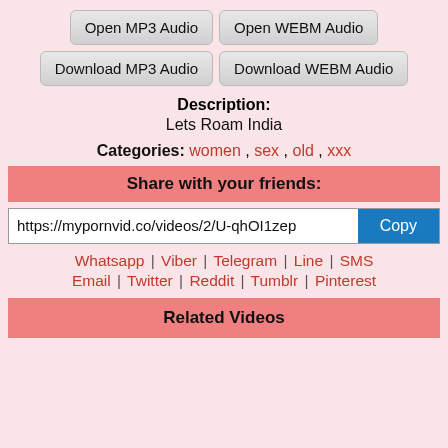Open MP3 Audio | Open WEBM Audio
Download MP3 Audio | Download WEBM Audio
Description: Lets Roam India
Categories: women , sex , old , xxx
Share with your friends:
https://mypornvid.co/videos/2/U-qhOI1zep  Copy
Whatsapp | Viber | Telegram | Line | SMS
Email | Twitter | Reddit | Tumblr | Pinterest
Related Videos